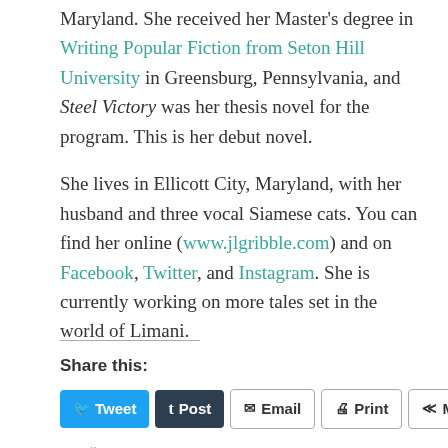Maryland. She received her Master's degree in Writing Popular Fiction from Seton Hill University in Greensburg, Pennsylvania, and Steel Victory was her thesis novel for the program. This is her debut novel.
She lives in Ellicott City, Maryland, with her husband and three vocal Siamese cats. You can find her online (www.jlgribble.com) and on Facebook, Twitter, and Instagram. She is currently working on more tales set in the world of Limani.
Share this:
Loading...